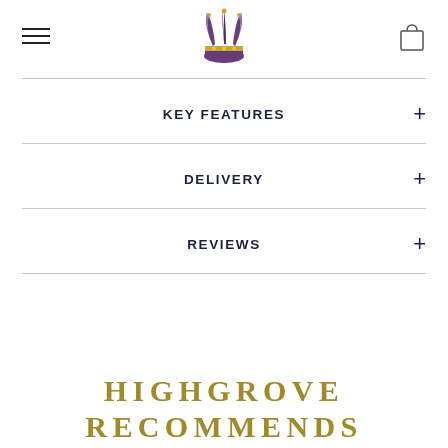[Figure (logo): Highgrove royal feathers crest logo with purple and gold crown]
KEY FEATURES
DELIVERY
REVIEWS
HIGHGROVE RECOMMENDS